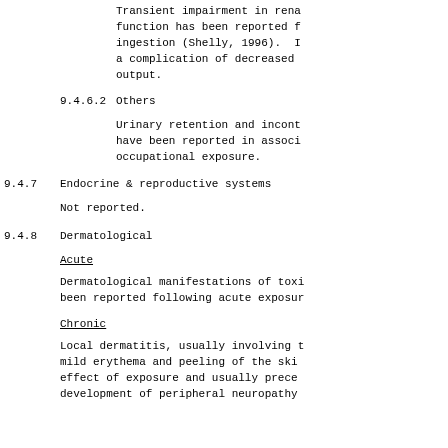Transient impairment in renal function has been reported following ingestion (Shelly, 1996). It may be a complication of decreased cardiac output.
9.4.6.2  Others
Urinary retention and incontinence have been reported in association with occupational exposure.
9.4.7  Endocrine & reproductive systems
Not reported.
9.4.8  Dermatological
Acute
Dermatological manifestations of toxicity have been reported following acute exposure.
Chronic
Local dermatitis, usually involving mild erythema and peeling of the skin is an effect of exposure and usually precedes the development of peripheral neuropathy.